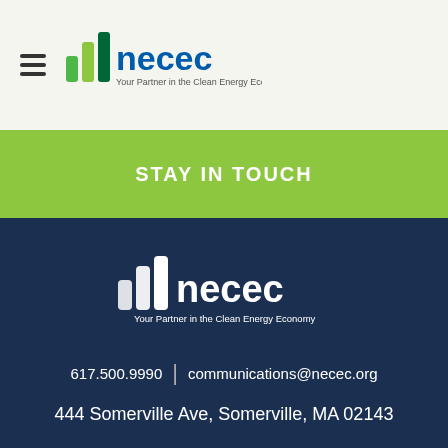[Figure (logo): NECEC logo with bar chart icon and text 'necec - Your Partner in the Clean Energy Economy' in the top header navigation bar]
STAY IN TOUCH
[Figure (logo): NECEC logo with white bar chart icon and white text 'necec - Your Partner in the Clean Energy Economy' centered on dark navy background]
617.500.9990  |  communications@necec.org
444 Somerville Ave, Somerville, MA 02143